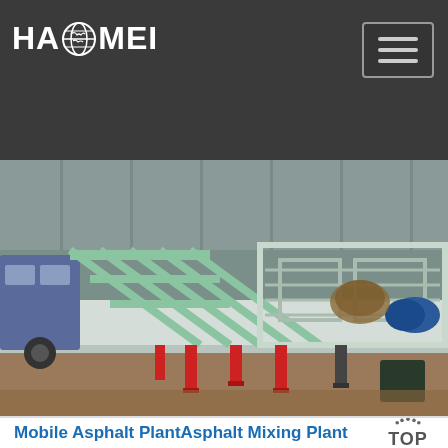[Figure (logo): HAOMEI company logo in white text on dark grey background with globe icon between HA and MEI]
[Figure (photo): Mobile asphalt plant / asphalt mixing plant on a truck chassis with green steel framework, red support legs, blue air tank, parked in an industrial yard]
Mobile Asphalt PlantAsphalt Mixing Plant Manufe…
We presently have mobile asphalt plants asphalt mixing plant and asphalt batch plant. We control everything which concerned the quality of our products…